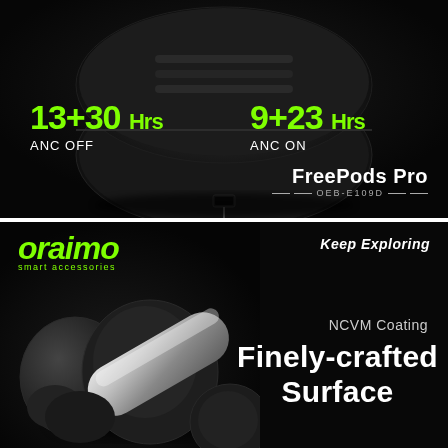[Figure (photo): Dark product photo of wireless earbuds charging case, top view, black background]
13+30 Hrs
ANC OFF
9+23 Hrs
ANC ON
FreePods Pro
OEB-E109D
[Figure (photo): Dark product photo of wireless earbuds with chrome/silver stem, macro shot, black background]
oraimo
smart accessories
Keep Exploring
NCVM Coating
Finely-crafted Surface